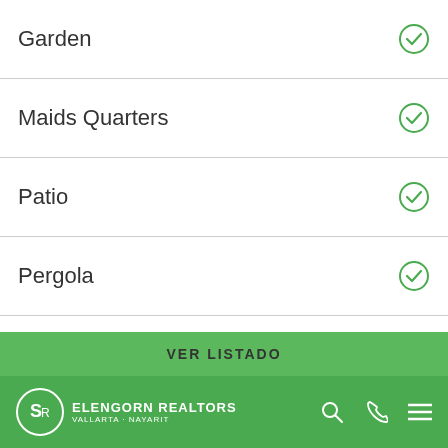Garden
Maids Quarters
Patio
Pergola
Pool
Sitting Area
Storage Area
Pet Area
VER LISTADO
ELENGORN REALTORS VALLARTA · NAYARIT